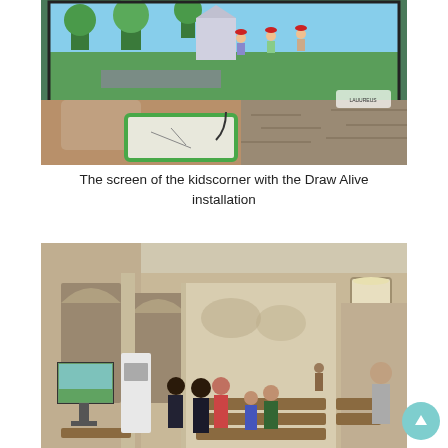[Figure (photo): A person holding a tablet/drawing pad device in front of a large screen displaying a colorful animated rural scene with characters wearing red hats, trees, and farm buildings. The setting appears to be a stone-walled museum or exhibition space.]
The screen of the kidscorner with the Draw Alive installation
[Figure (photo): Interior of a Romanesque church or abbey with stone arches, columns, and wooden pews. Several visitors are gathered near a display screen on the left showing an animated scene. One person stands further in the nave. Natural light enters through a window on the right.]